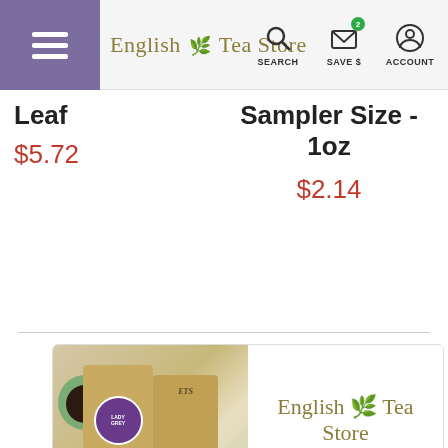English Tea Store — SEARCH, SAVE $, ACCOUNT
Leaf
$5.72
Sampler Size - 1oz
$2.14
[Figure (infographic): English Tea Store advertisement banner with tea bags and cups image on left, logo text 'English Tea Store', tagline 'Loose Leaf and Tea Bags', and 'SHOP NOW' button on right]